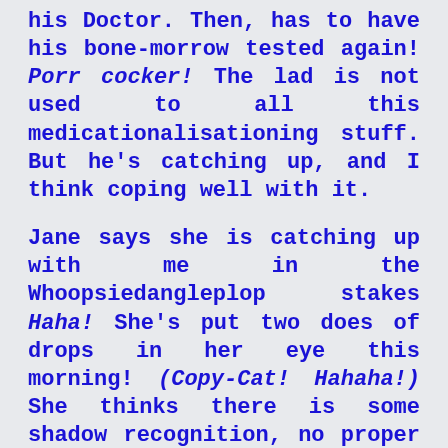his Doctor. Then, has to have his bone-morrow tested again! Porr cocker! The lad is not used to all this medicationalisationing stuff. But he's catching up, and I think coping well with it.
Jane says she is catching up with me in the Whoopsiedangleplop stakes Haha! She's put two does of drops in her eye this morning! (Copy-Cat! Hahaha!) She thinks there is some shadow recognition, no proper vision yet. Well done, Pete and Jane!
Well, I must get some graphics done in advance, and I hope I can stay awake...